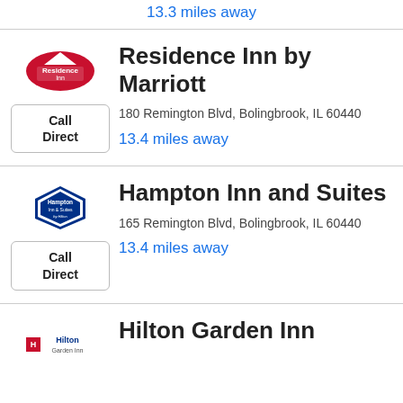13.3 miles away
[Figure (logo): Residence Inn by Marriott logo]
Call Direct
Residence Inn by Marriott
180 Remington Blvd, Bolingbrook, IL 60440
13.4 miles away
[Figure (logo): Hampton Inn and Suites logo]
Call Direct
Hampton Inn and Suites
165 Remington Blvd, Bolingbrook, IL 60440
13.4 miles away
[Figure (logo): Hilton Garden Inn logo]
Hilton Garden Inn